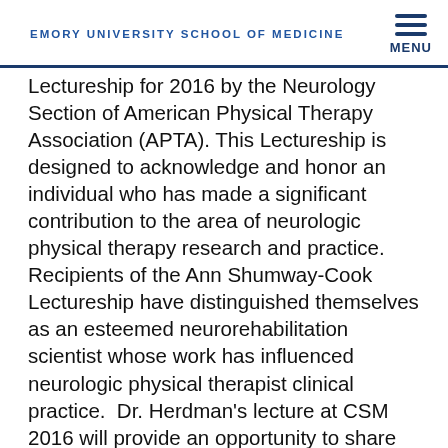EMORY UNIVERSITY SCHOOL OF MEDICINE
Lectureship for 2016 by the Neurology Section of American Physical Therapy Association (APTA). This Lectureship is designed to acknowledge and honor an individual who has made a significant contribution to the area of neurologic physical therapy research and practice.  Recipients of the Ann Shumway-Cook Lectureship have distinguished themselves as an esteemed neurorehabilitation scientist whose work has influenced neurologic physical therapist clinical practice.  Dr. Herdman's lecture at CSM 2016 will provide an opportunity to share experiences related to the translation of her research into physical